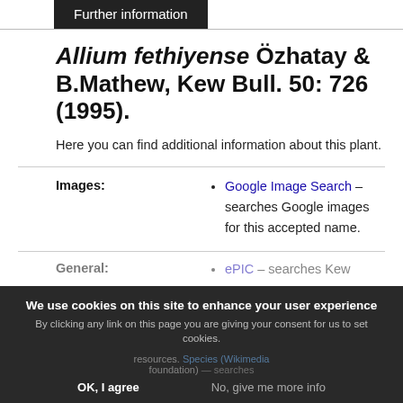Further information
Allium fethiyense Özhatay & B.Mathew, Kew Bull. 50: 726 (1995).
Here you can find additional information about this plant.
Images:
Google Image Search — searches Google images for this accepted name.
General:
ePIC — searches Kew resources. Species (Wikimedia foundation) — searches
We use cookies on this site to enhance your user experience
By clicking any link on this page you are giving your consent for us to set cookies.
OK, I agree   No, give me more info